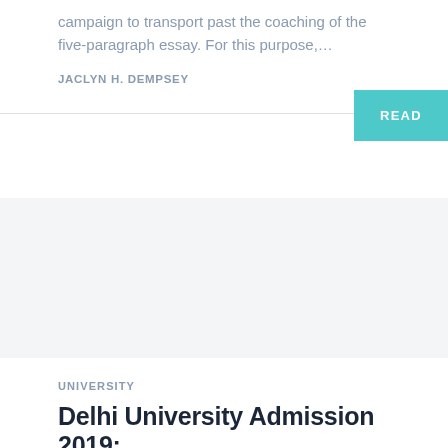campaign to transport past the coaching of the five-paragraph essay. For this purpose,...
JACLYN H. DEMPSEY
READ
UNIVERSITY
Delhi University Admission 2019: